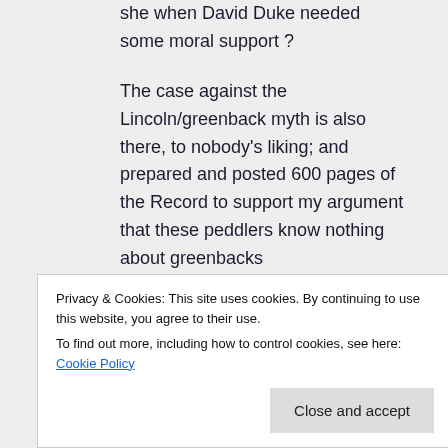she when David Duke needed some moral support ?
The case against the Lincoln/greenback myth is also there, to nobody's liking; and prepared and posted 600 pages of the Record to support my argument that these peddlers know nothing about greenbacks
>>>>>2nd question
monetary reform, first we need an
Privacy & Cookies: This site uses cookies. By continuing to use this website, you agree to their use.
To find out more, including how to control cookies, see here: Cookie Policy